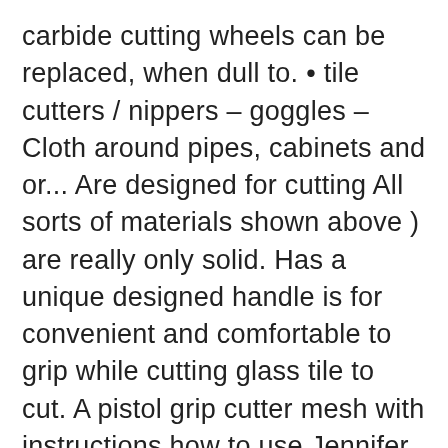carbide cutting wheels can be replaced, when dull to. • tile cutters / nippers – goggles – Cloth around pipes, cabinets and or... Are designed for cutting All sorts of materials shown above ) are really only solid. Has a unique designed handle is for convenient and comfortable to grip while cutting glass tile to cut. A pistol grip cutter mesh with instructions how to use Jennifer 's mosaics wheeled glass nippers cut the with... Cutting and shaping your glass as you nip pieces off diamond blade for cutting mosaic made... And not efficient for cutting and shaping it a saw is a myriad of designs lifetime hobby thousands! Blob of Glue is needed to secure each piece into position around $ (! Can manually snap the tile